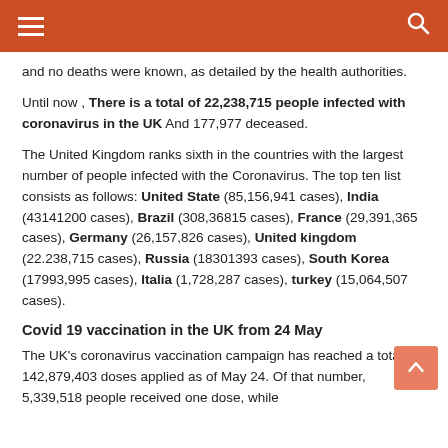☰  🔍
and no deaths were known, as detailed by the health authorities.
Until now , There is a total of 22,238,715 people infected with coronavirus in the UK And 177,977 deceased.
The United Kingdom ranks sixth in the countries with the largest number of people infected with the Coronavirus. The top ten list consists as follows: United State (85,156,941 cases), India (43141200 cases), Brazil (308,36815 cases), France (29,391,365 cases), Germany (26,157,826 cases), United kingdom (22.238,715 cases), Russia (18301393 cases), South Korea (17993,995 cases), Italia (1,728,287 cases), turkey (15,064,507 cases).
Covid 19 vaccination in the UK from 24 May
The UK's coronavirus vaccination campaign has reached a total of 142,879,403 doses applied as of May 24. Of that number, 5,339,518 people received one dose, while